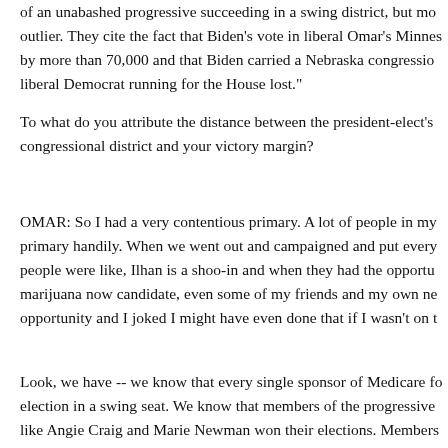of an unabashed progressive succeeding in a swing district, but mo outlier. They cite the fact that Biden's vote in liberal Omar's Minnes by more than 70,000 and that Biden carried a Nebraska congressio liberal Democrat running for the House lost."
To what do you attribute the distance between the president-elect's congressional district and your victory margin?
OMAR: So I had a very contentious primary. A lot of people in my primary handily. When we went out and campaigned and put every people were like, Ilhan is a shoo-in and when they had the opportu marijuana now candidate, even some of my friends and my own ne opportunity and I joked I might have even done that if I wasn't on t
Look, we have -- we know that every single sponsor of Medicare fo election in a swing seat. We know that members of the progressive like Angie Craig and Marie Newman won their elections. Members